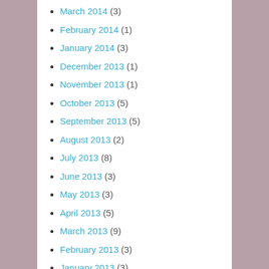March 2014 (3)
February 2014 (1)
January 2014 (3)
December 2013 (1)
November 2013 (1)
October 2013 (5)
September 2013 (5)
August 2013 (2)
July 2013 (8)
June 2013 (3)
May 2013 (3)
April 2013 (5)
March 2013 (9)
February 2013 (3)
January 2013 (3)
December 2012 (6)
November 2012 (5)